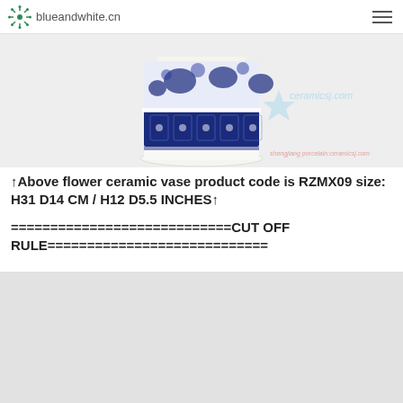blueandwhite.cn
[Figure (photo): Blue and white ceramic flower vase with floral and geometric patterns on a light background. Watermark reads ceramicsj.com and shengjiang porcelain:ceramicsj.com]
↑Above flower ceramic vase product code is RZMX09 size: H31 D14 CM / H12 D5.5 INCHES↑
============================CUT OFF RULE============================
[Figure (photo): Partial view of another ceramic product, light gray background, content cut off]